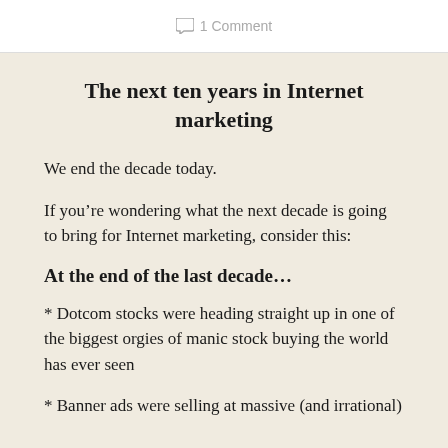1 Comment
The next ten years in Internet marketing
We end the decade today.
If you’re wondering what the next decade is going to bring for Internet marketing, consider this:
At the end of the last decade…
* Dotcom stocks were heading straight up in one of the biggest orgies of manic stock buying the world has ever seen
* Banner ads were selling at massive (and irrational)